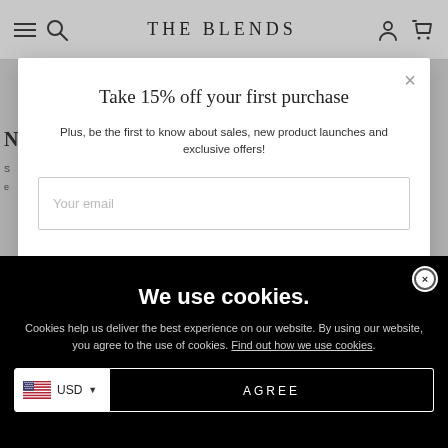THE BLENDS
Take 15% off your first purchase
Plus, be the first to know about sales, new product launches and exclusive offers!
Your email
We use cookies.
Cookies help us deliver the best experience on our website. By using our website, you agree to the use of cookies. Find out how we use cookies.
USD  AGREE